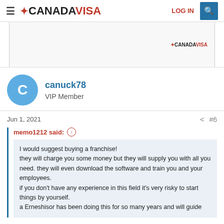CANADA VISA — LOG IN
[Figure (other): CanadaVisa advertisement banner with logo]
canuck78
VIP Member
Jun 1, 2021    #6
memo1212 said: ↑
I would suggest buying a franchise!
they will charge you some money but they will supply you with all you need. they will even download the software and train you and your employees.
if you don't have any experience in this field it's very risky to start things by yourself.
a Erneshisor has been doing this for so many years and will guide